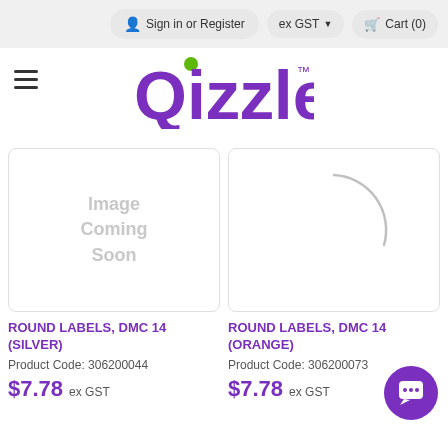Sign in or Register | ex GST | Cart (0)
[Figure (logo): Qizzle logo with purple stylized text and a green dot above the i, with TM mark]
[Figure (photo): Product image placeholder saying Image Coming Soon]
[Figure (photo): Product image partially loaded showing a loading spinner arc]
ROUND LABELS, DMC 14 (SILVER)
Product Code: 306200044
$7.78 ex GST
ROUND LABELS, DMC 14 (ORANGE)
Product Code: 306200073
$7.78 ex GST